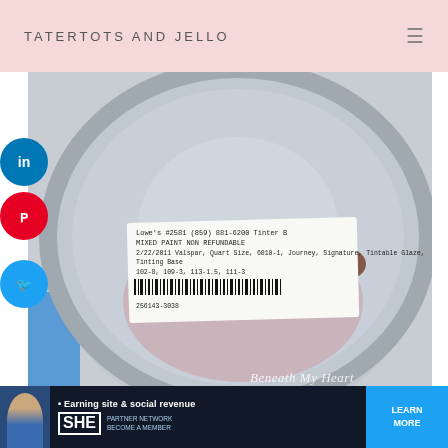TATERTOTS AND JELLO
[Figure (photo): Top-down photo of a paint can lid with a label showing Lowe's paint information: #2581 (859) 881-6200 Tinter B, MIXED PAINT NON REFUNDABLE, 2/22/2011 Valspar, Quart Size, 6010-1, Journey, Signature, Tintable Glaze, Tinting Base, 102-8, 109-3, 113-1.5, 111-3. Barcode with number 256143-3038. A dark brownish paint daub visible. Watermark reads 'Beneath My Heart'. Social media icons (LinkedIn, Pinterest, Twitter) on the left side.]
After taping the mirror, I lightly sanded the wood
[Figure (infographic): Advertisement banner: SHE Partner Network - Earning site & social revenue - LEARN MORE - BECOME A MEMBER]